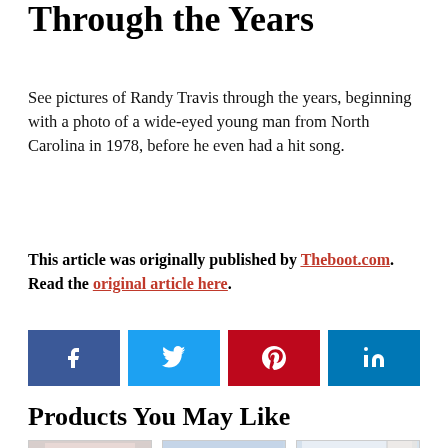Through the Years
See pictures of Randy Travis through the years, beginning with a photo of a wide-eyed young man from North Carolina in 1978, before he even had a hit song.
This article was originally published by Theboot.com. Read the original article here.
[Figure (infographic): Social share buttons: Facebook (blue), Twitter (light blue), Pinterest (red), LinkedIn (dark blue)]
Products You May Like
[Figure (photo): Three product thumbnail images: perfume bottles, a man smiling outdoors, and folded striped clothing/fabric]